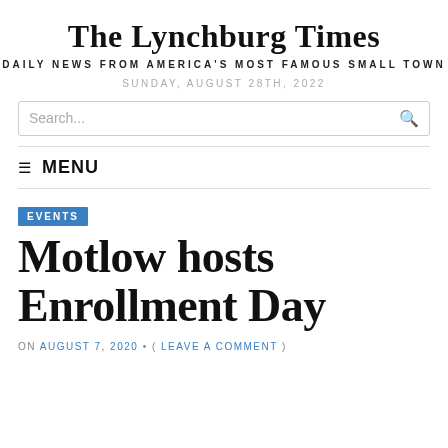The Lynchburg Times
DAILY NEWS FROM AMERICA'S MOST FAMOUS SMALL TOWN
SUNDAY, AUGUST 28TH, 2022
Search...
≡  MENU
EVENTS
Motlow hosts Enrollment Day
ON AUGUST 7, 2020 • ( LEAVE A COMMENT )